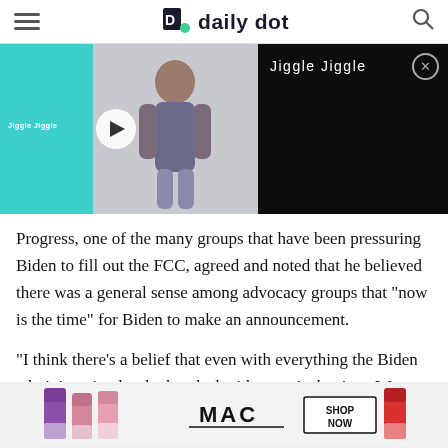daily dot
[Figure (screenshot): Embedded video player showing 'Jiggle Jiggle' video. Left side has teal background with a video thumbnail of a person and a play button. Right side is black with the text 'Jiggle Jiggle' and a close (X) button.]
Progress, one of the many groups that have been pressuring Biden to fill out the FCC, agreed and noted that he believed there was a general sense among advocacy groups that “now is the time” for Biden to make an announcement.
“I think there’s a belief that even with everything the Biden administration has had to deal with, now is the time. We don’t want to lose any more valuable time.
[Figure (photo): MAC Cosmetics advertisement showing lipsticks in purple, pink, and red colors with MAC logo and 'SHOP NOW' button.]